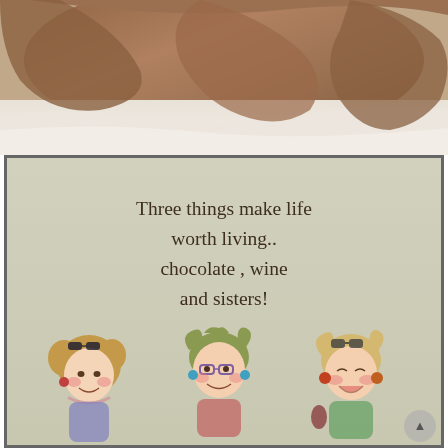[Figure (photo): Top portion of page showing a photo of a person lying in bed with brown/beige fabric and white sheets visible]
[Figure (illustration): Greeting card style illustration with beige/sage green background in a dark border. Text reads 'Three things make life worth living.. chocolate , wine and sisters!' with cartoon illustrations of three cheerful women at the bottom.]